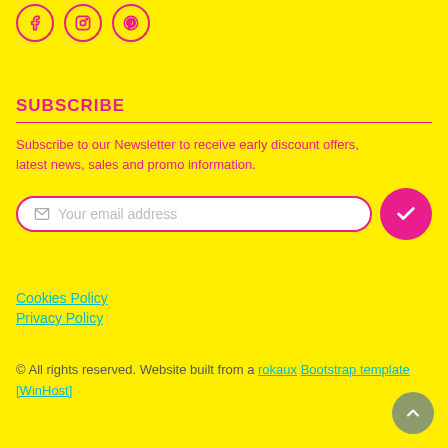[Figure (other): Three social media icon circles (Facebook, Instagram, Pinterest) with pink borders and pink icons on yellow background]
SUBSCRIBE
Subscribe to our Newsletter to receive early discount offers, latest news, sales and promo information.
[Figure (other): Email subscription form with email input field and pink submit button with checkmark]
Cookies Policy
Privacy Policy
© All rights reserved. Website built from a rokaux Bootstrap template [WinHost]